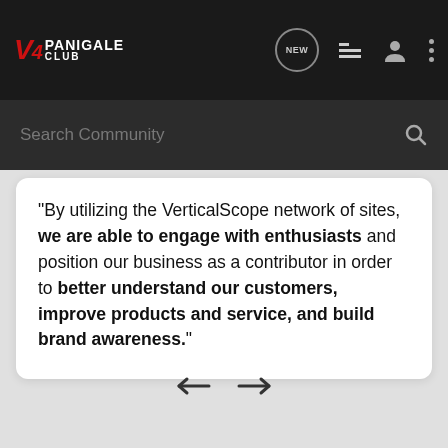[Figure (screenshot): V4 Panigale Club website navigation bar with logo, NEW button, list icon, user icon, and three-dot menu icon on dark background]
Search Community
“By utilizing the VerticalScope network of sites, we are able to engage with enthusiasts and position our business as a contributor in order to better understand our customers, improve products and service, and build brand awareness.”
[Figure (other): Left and right navigation arrow icons for carousel navigation]